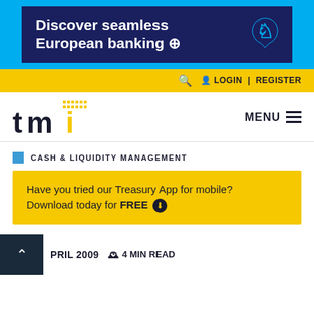[Figure (infographic): Barclays banner ad with dark navy background and light blue border reading 'Discover seamless European banking' with arrow and Barclays eagle logo]
LOGIN | REGISTER
[Figure (logo): TMI logo with dotted yellow pattern above stylized tmi letters]
MENU
CASH & LIQUIDITY MANAGEMENT
Have you tried our Treasury App for mobile? Download today for FREE
APRIL 2009  4 MIN READ